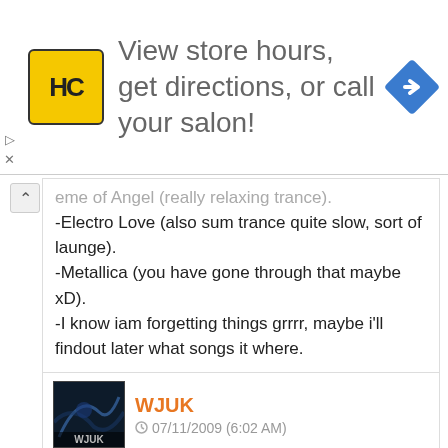[Figure (infographic): Advertisement banner: HC logo (yellow square), text 'View store hours, get directions, or call your salon!', blue diamond arrow icon]
-eme of Angel (really relaxing trance).
-Electro Love (also sum trance quite slow, sort of launge).
-Metallica (you have gone through that maybe xD).
-I know iam forgetting things grrrr, maybe i'll findout later what songs it where.

i deffenetly advise you to listen some of brad sux songs :D:DD:

-Quintus
Log in to Reply
WJUK
07/11/2009 (6:02 AM)
Just wanted to say Congratulations again on the big day!